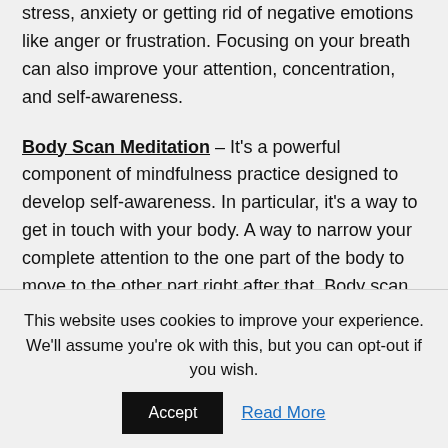stress, anxiety or getting rid of negative emotions like anger or frustration. Focusing on your breath can also improve your attention, concentration, and self-awareness.
Body Scan Meditation – It's a powerful component of mindfulness practice designed to develop self-awareness. In particular, it's a way to get in touch with your body. A way to narrow your complete attention to the one part of the body to move to the other part right after that. Body scan meditation practice improves the ability to move the attention
This website uses cookies to improve your experience. We'll assume you're ok with this, but you can opt-out if you wish. Accept Read More